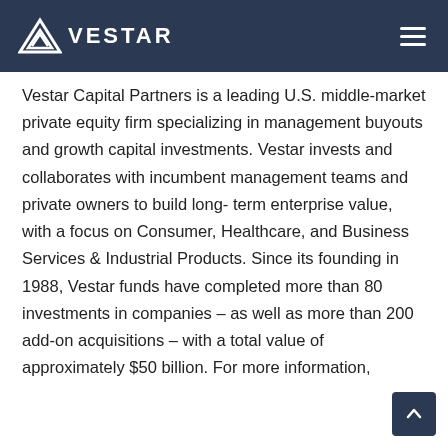VESTAR
Vestar Capital Partners is a leading U.S. middle-market private equity firm specializing in management buyouts and growth capital investments. Vestar invests and collaborates with incumbent management teams and private owners to build long- term enterprise value, with a focus on Consumer, Healthcare, and Business Services & Industrial Products. Since its founding in 1988, Vestar funds have completed more than 80 investments in companies – as well as more than 200 add-on acquisitions – with a total value of approximately $50 billion. For more information,